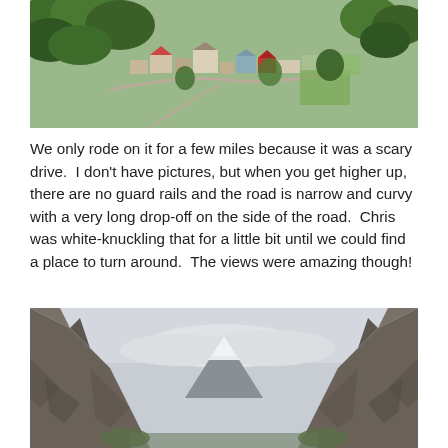[Figure (photo): Aerial view of a small mountain town with green trees, winding roads, and colorful buildings including a red-roofed structure]
We only rode on it for a few miles because it was a scary drive.  I don't have pictures, but when you get higher up, there are no guard rails and the road is narrow and curvy with a very long drop-off on the side of the road.  Chris was white-knuckling that for a little bit until we could find a place to turn around.  The views were amazing though!
[Figure (photo): Mountain canyon view with steep rocky cliffs on both sides and a snow-capped peak visible in the center under an overcast sky]